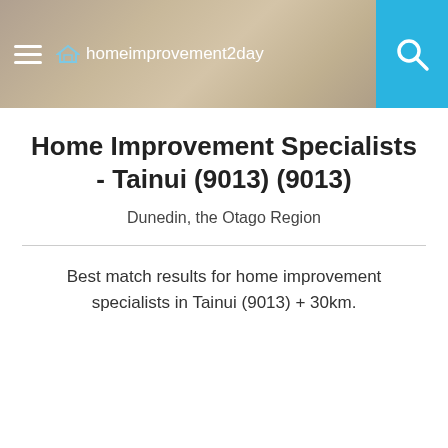[Figure (screenshot): Website header bar with hamburger menu icon, homeimprovement2day logo with house icon, blurred photo background of a person, and cyan/blue search button on the right]
Home Improvement Specialists - Tainui (9013) (9013)
Dunedin, the Otago Region
Best match results for home improvement specialists in Tainui (9013) + 30km.